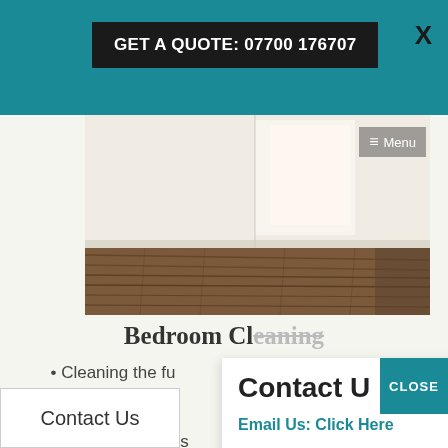GET A QUOTE: 07700 176707
[Figure (photo): Interior room photo showing white walls and dark hardwood flooring with menu overlay]
Bedroom Cleaning
• Cleaning the furniture inside and out • Cleaning the surfaces of each • Cleaning the windows • Cleaning the carpets
Contact Us
Contact Us - Email Us: Click Here  Call Us: 07700 176707  GET A QUOTE